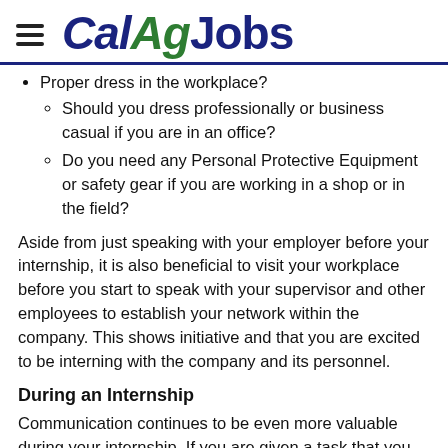CalAgJobs
Proper dress in the workplace?
Should you dress professionally or business casual if you are in an office?
Do you need any Personal Protective Equipment or safety gear if you are working in a shop or in the field?
Aside from just speaking with your employer before your internship, it is also beneficial to visit your workplace before you start to speak with your supervisor and other employees to establish your network within the company. This shows initiative and that you are excited to be interning with the company and its personnel.
During an Internship
Communication continues to be even more valuable during your internship. If you are given a task that you